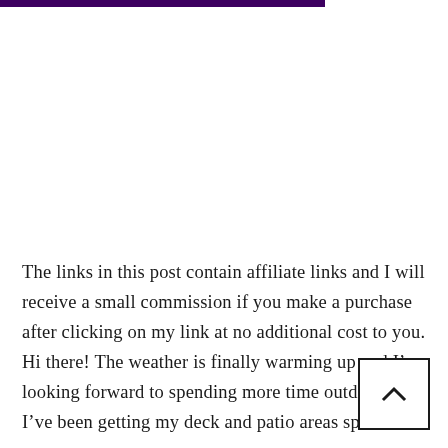The links in this post contain affiliate links and I will receive a small commission if you make a purchase after clicking on my link at no additional cost to you. Hi there! The weather is finally warming up and I’m looking forward to spending more time outdoors. I’ve been getting my deck and patio areas spruced …